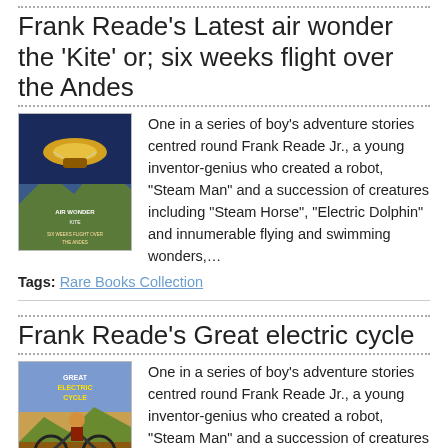Frank Reade's Latest air wonder the 'Kite' or; six weeks flight over the Andes
[Figure (illustration): Book cover illustration for 'Air Wonder Kite - Six Weeks Flight Over the Andes', showing a flying craft over mountains]
One in a series of boy's adventure stories centred round Frank Reade Jr., a young inventor-genius who created a robot, "Steam Man" and a succession of creatures including "Steam Horse", "Electric Dolphin" and innumerable flying and swimming wonders,…
Tags: Rare Books Collection
Frank Reade's Great electric cycle
[Figure (illustration): Book cover illustration for 'Great Electric Cycle' showing a rider on an electric cycle]
One in a series of boy's adventure stories centred round Frank Reade Jr., a young inventor-genius who created a robot, "Steam Man" and a succession of creatures including "Steam Horse", "Electric Dolphin" and innumerable flying and swimming wonders,…